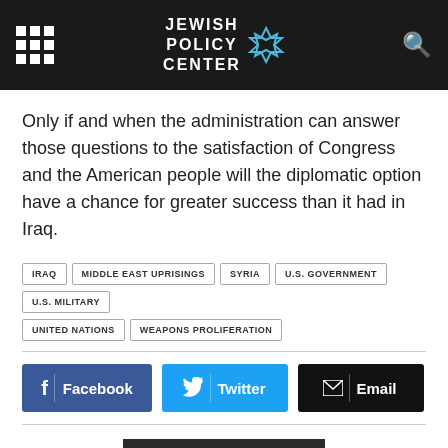JEWISH POLICY CENTER
Only if and when the administration can answer those questions to the satisfaction of Congress and the American people will the diplomatic option have a chance for greater success than it had in Iraq.
IRAQ
MIDDLE EAST UPRISINGS
SYRIA
U.S. GOVERNMENT
U.S. MILITARY
UNITED NATIONS
WEAPONS PROLIFERATION
Facebook | Twitter | Email
RELATED ARTICLES